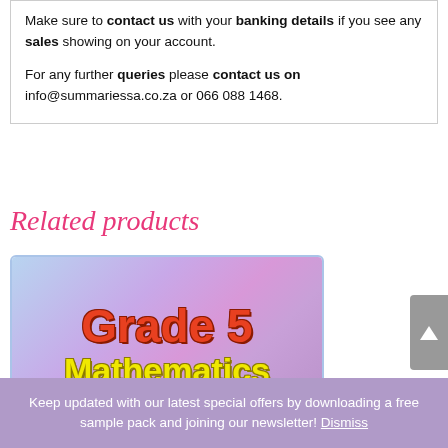Make sure to contact us with your banking details if you see any sales showing on your account.

For any further queries please contact us on info@summariessa.co.za or 066 088 1468.
Related products
[Figure (illustration): Grade 5 Mathematics product cover image with colorful gradient purple-blue background, showing 'Grade 5' in red lettering and 'Mathematics' in yellow lettering]
Keep updated with our latest special offers by downloading a free sample pack and joining our newsletter! Dismiss